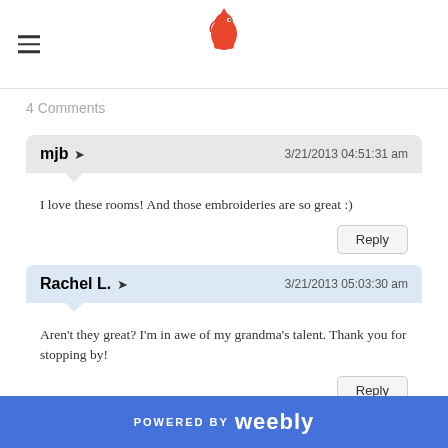[hamburger menu icon] [bird logo]
4 Comments
mjb → 3/21/2013 04:51:31 am
I love these rooms! And those embroideries are so great :)
Reply
Rachel L. → 3/21/2013 05:03:30 am
Aren't they great? I'm in awe of my grandma's talent. Thank you for stopping by!
Reply
POWERED BY weebly